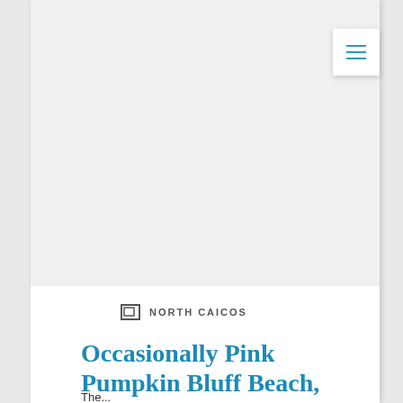[Figure (photo): Large blank/faded photograph area taking up the top portion of the page]
NORTH CAICOS
Occasionally Pink Pumpkin Bluff Beach, North Caicos
The...